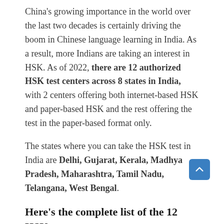China's growing importance in the world over the last two decades is certainly driving the boom in Chinese language learning in India. As a result, more Indians are taking an interest in HSK. As of 2022, there are 12 authorized HSK test centers across 8 states in India, with 2 centers offering both internet-based HSK and paper-based HSK and the rest offering the test in the paper-based format only.
The states where you can take the HSK test in India are Delhi, Gujarat, Kerala, Madhya Pradesh, Maharashtra, Tamil Nadu, Telangana, West Bengal.
Here's the complete list of the 12 HSK